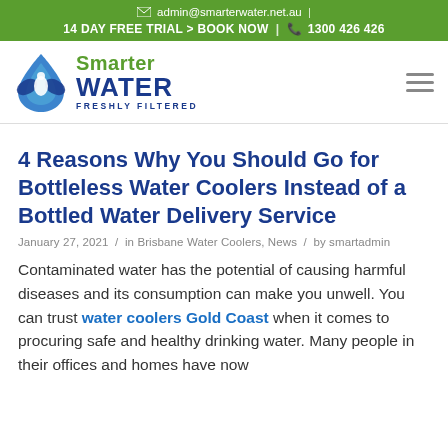✉ admin@smarterwater.net.au  |  14 DAY FREE TRIAL > BOOK NOW  |  📞 1300 426 426
[Figure (logo): Smarter Water logo with blue water drop icon and text 'Smarter WATER FRESHLY FILTERED']
4 Reasons Why You Should Go for Bottleless Water Coolers Instead of a Bottled Water Delivery Service
January 27, 2021 / in Brisbane Water Coolers, News / by smartadmin
Contaminated water has the potential of causing harmful diseases and its consumption can make you unwell. You can trust water coolers Gold Coast when it comes to procuring safe and healthy drinking water. Many people in their offices and homes have now